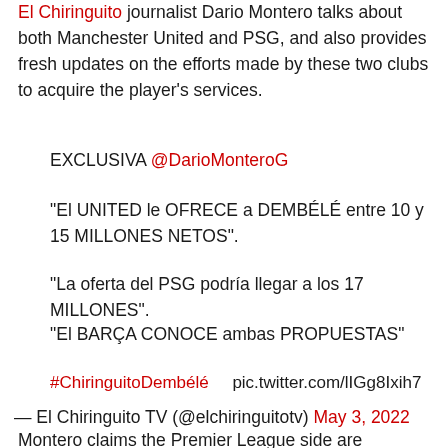El Chiringuito journalist Dario Montero talks about both Manchester United and PSG, and also provides fresh updates on the efforts made by these two clubs to acquire the player's services.
EXCLUSIVA @DarioMonteroG
"El UNITED le OFRECE a DEMBÉLÉ entre 10 y 15 MILLONES NETOS".
"La oferta del PSG podría llegar a los 17 MILLONES".
"El BARÇA CONOCE ambas PROPUESTAS"
#ChiringuitoDembélé   pic.twitter.com/lIGg8Ixih7
— El Chiringuito TV (@elchiringuitotv) May 3, 2022
Montero claims the Premier League side are 'offering' the former Borussia Dortmund man a deal that includes a net salary 'between